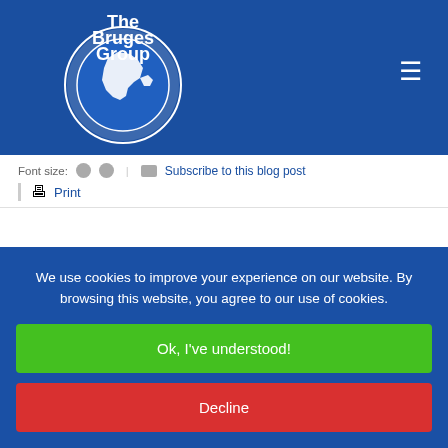The Bruges Group
Font size: [A] [A] | Subscribe to this blog post
Print
'Spartan Victory' - Interview with Mark Francois MP
We use cookies to improve your experience on our website. By browsing this website, you agree to our use of cookies.
Ok, I've understood!
Decline